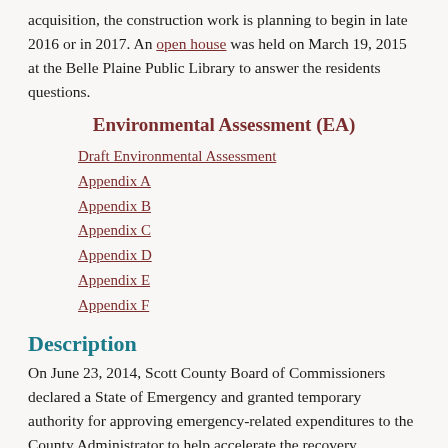acquisition, the construction work is planning to begin in late 2016 or in 2017. An open house was held on March 19, 2015 at the Belle Plaine Public Library to answer the residents questions.
Environmental Assessment (EA)
Draft Environmental Assessment
Appendix A
Appendix B
Appendix C
Appendix D
Appendix E
Appendix F
Description
On June 23, 2014, Scott County Board of Commissioners declared a State of Emergency and granted temporary authority for approving emergency-related expenditures to the County Administrator to help accelerate the recovery